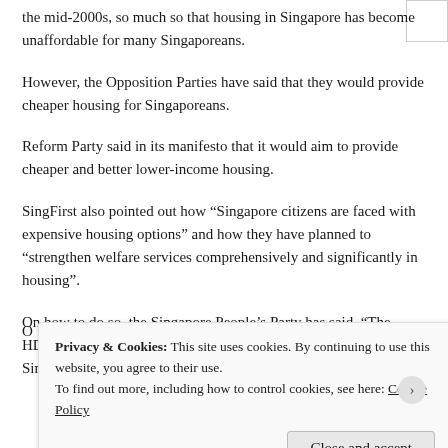the mid-2000s, so much so that housing in Singapore has become unaffordable for many Singaporeans.
However, the Opposition Parties have said that they would provide cheaper housing for Singaporeans.
Reform Party said in its manifesto that it would aim to provide cheaper and better lower-income housing.
SingFirst also pointed out how “Singapore citizens are faced with expensive housing options” and how they have planned to “strengthen welfare services comprehensively and significantly in housing”.
On how to do so, the Singapore People’s Party has said, “The HDB was set up to provide affordable public housing for Singaporeans. Over time,
Privacy & Cookies: This site uses cookies. By continuing to use this website, you agree to their use.
To find out more, including how to control cookies, see here: Cookie Policy
Close and accept